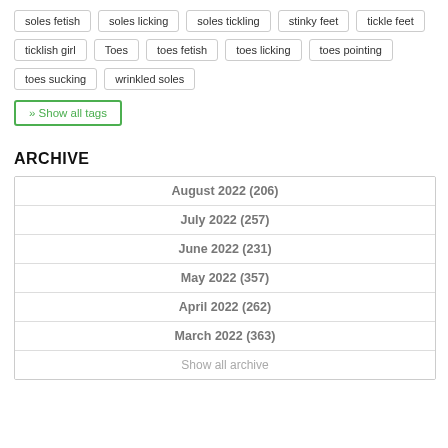soles fetish
soles licking
soles tickling
stinky feet
tickle feet
ticklish girl
Toes
toes fetish
toes licking
toes pointing
toes sucking
wrinkled soles
» Show all tags
ARCHIVE
| August 2022 (206) |
| July 2022 (257) |
| June 2022 (231) |
| May 2022 (357) |
| April 2022 (262) |
| March 2022 (363) |
| Show all archive |